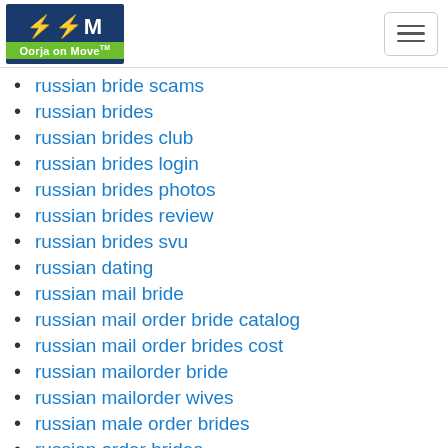[Figure (logo): Oorja on Move logo with lightning bolt icons on dark blue background and green banner]
russian bride scams
russian brides
russian brides club
russian brides login
russian brides photos
russian brides review
russian brides svu
russian dating
russian mail bride
russian mail order bride catalog
russian mail order brides cost
russian mailorder bride
russian mailorder wives
russian male order brides
russian order brides
russian wives